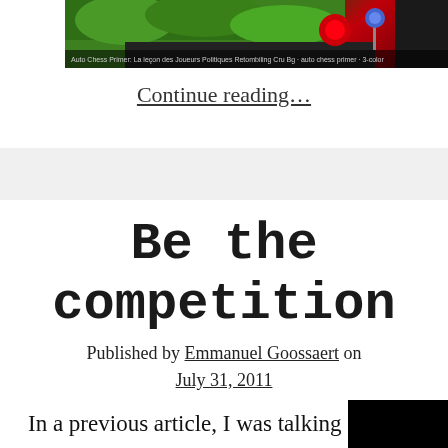[Figure (photo): A photo showing green foliage background with a red light and a small blue circular object on a dark surface, with a dark caption bar at the bottom containing small white text.]
Continue reading…
Be the competition
Published by Emmanuel Goossaert on July 31, 2011
In a previous article, I was talking about